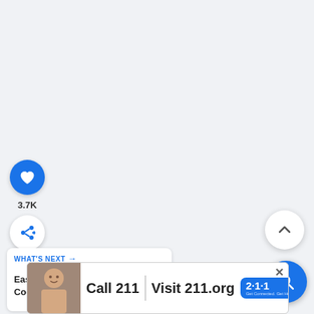[Figure (screenshot): Light blue-gray background area filling most of the page, representing a webpage screenshot]
[Figure (infographic): Blue circular heart/like button icon]
3.7K
[Figure (infographic): White circular share button with share icon]
[Figure (infographic): What's Next panel showing 'Easy Slow Cooker...' with food thumbnail image]
[Figure (infographic): White circular scroll-up chevron button on right side]
[Figure (infographic): Blue circular search/magnifying glass button on right side]
[Figure (infographic): Advertisement banner: Call 211 | Visit 211.org with 2-1-1 badge logo and child photo]